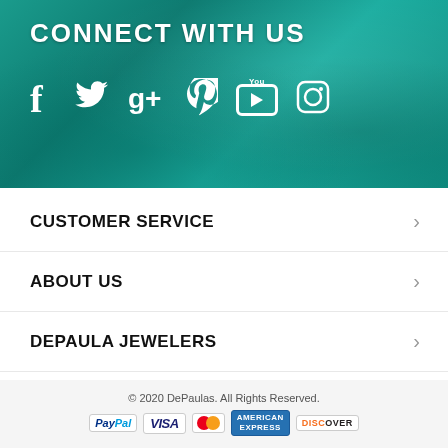CONNECT WITH US
[Figure (infographic): Social media icons on teal background: Facebook, Twitter, Google+, Pinterest, YouTube, Instagram]
CUSTOMER SERVICE
ABOUT US
DEPAULA JEWELERS
ISLAMORADA JEWELERS
© 2020 DePaulas. All Rights Reserved. [Payment icons: PayPal, VISA, MasterCard, American Express, Discover]